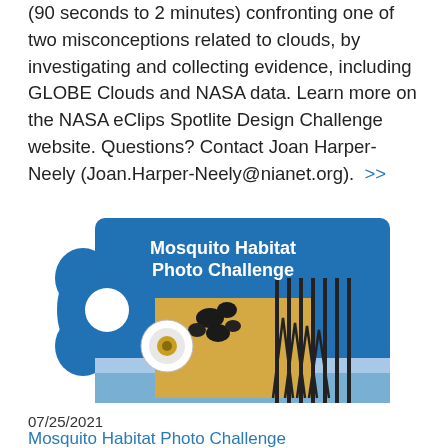(90 seconds to 2 minutes) confronting one of two misconceptions related to clouds, by investigating and collecting evidence, including GLOBE Clouds and NASA data. Learn more on the NASA eClips Spotlite Design Challenge website. Questions? Contact Joan Harper-Neely (Joan.Harper-Neely@nianet.org).  >>
[Figure (illustration): Mosquito Habitat Photo Challenge banner image — blue background with white bold text reading 'Mosquito Habitat Photo Challenge', with illustrated mosquito larvae and habitat graphic in yellow, black and white tones.]
07/25/2021
Mosquito Habitat Photo Challenge
Join us for the Mosquito Habitat Photo Challenge from July 25th to August 25th and